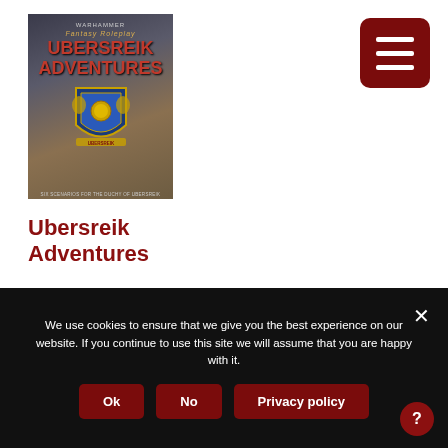[Figure (photo): Book cover for Ubersreik Adventures - Warhammer Fantasy Roleplay, showing a heraldic shield with lions on a stone textured background]
Ubersreik Adventures
$39.99
We use cookies to ensure that we give you the best experience on our website. If you continue to use this site we will assume that you are happy with it.